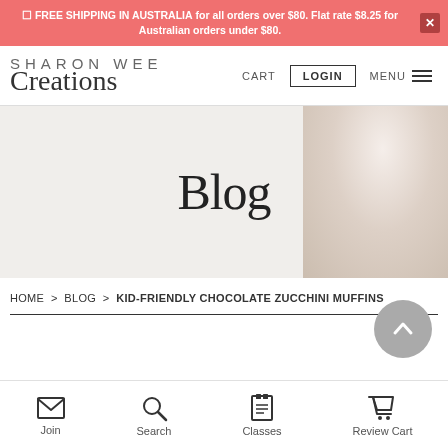FREE SHIPPING IN AUSTRALIA for all orders over $80. Flat rate $8.25 for Australian orders under $80.
[Figure (logo): Sharon Wee Creations logo with SHARON WEE in uppercase and Creations in cursive script]
CART  LOGIN  MENU
[Figure (photo): Hero banner with 'Blog' title in handwritten font over a light beige background with soft out-of-focus objects on the right]
Blog
HOME > BLOG > KID-FRIENDLY CHOCOLATE ZUCCHINI MUFFINS
Join  Search  Classes  Review Cart